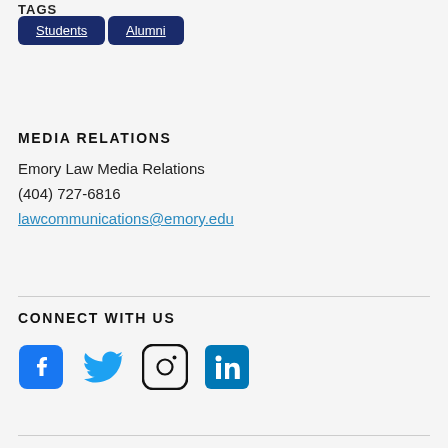TAGS
Students
Alumni
MEDIA RELATIONS
Emory Law Media Relations
(404) 727-6816
lawcommunications@emory.edu
CONNECT WITH US
[Figure (infographic): Social media icons: Facebook, Twitter, Instagram, LinkedIn]